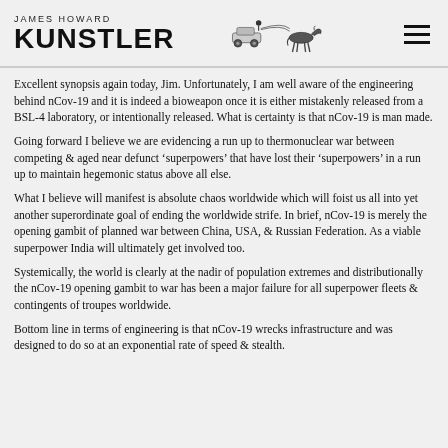JAMES HOWARD KUNSTLER
Excellent synopsis again today, Jim. Unfortunately, I am well aware of the engineering behind nCov-19 and it is indeed a bioweapon once it is either mistakenly released from a BSL-4 laboratory, or intentionally released. What is certainty is that nCov-19 is man made.
Going forward I believe we are evidencing a run up to thermonuclear war between competing & aged near defunct ‘superpowers’ that have lost their ‘superpowers’ in a run up to maintain hegemonic status above all else.
What I believe will manifest is absolute chaos worldwide which will foist us all into yet another superordinate goal of ending the worldwide strife. In brief, nCov-19 is merely the opening gambit of planned war between China, USA, & Russian Federation. As a viable superpower India will ultimately get involved too.
Systemically, the world is clearly at the nadir of population extremes and distributionally the nCov-19 opening gambit to war has been a major failure for all superpower fleets & contingents of troupes worldwide.
Bottom line in terms of engineering is that nCov-19 wrecks infrastructure and was designed to do so at an exponential rate of speed & stealth.